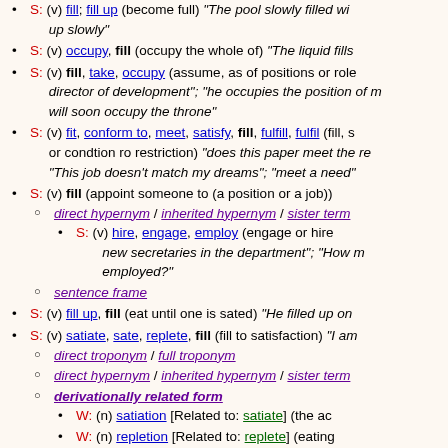S: (v) fill; fill up (become full) "The pool slowly filled with water"; "up slowly"
S: (v) occupy, fill (occupy the whole of) "The liquid fills the container"
S: (v) fill, take, occupy (assume, as of positions or roles) "director of development"; "he occupies the position of manager"; "will soon occupy the throne"
S: (v) fit, conform to, meet, satisfy, fill, fulfill, fulfil (fill, satisfy or condition ro restriction) "does this paper meet the requirements?"; "This job doesn't match my dreams"; "meet a need"
S: (v) fill (appoint someone to (a position or a job))
direct hypernym / inherited hypernym / sister term
S: (v) hire, engage, employ (engage or hire for work) "new secretaries in the department"; "How many secretaries are employed?"
sentence frame
S: (v) fill up, fill (eat until one is sated) "He filled up on potatoes"
S: (v) satiate, sate, replete, fill (fill to satisfaction) "I am full"
direct troponym / full troponym
direct hypernym / inherited hypernym / sister term
derivationally related form
W: (n) satiation [Related to: satiate] (the act of satisfying)
W: (n) repletion [Related to: replete] (eating until full)
W: (n) fill [Related to: fill] (a quantity sufficient) "potatoes"; "she had heard her fill of gossip"
sentence frame
S: (v) fill (plug with a substance) "fill a cavity"